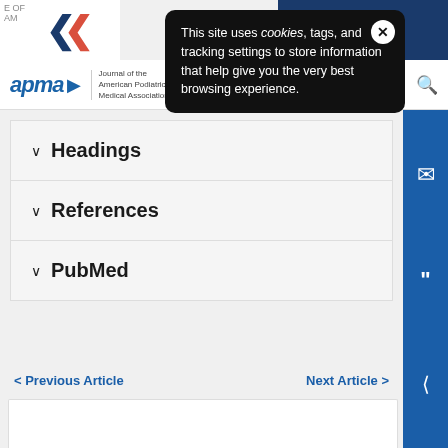[Figure (screenshot): APMA journal website banner with red and blue chevron logo on left and dark blue promotional area on right showing 'in Compr' and '/hitepaper' text]
This site uses cookies, tags, and tracking settings to store information that help give you the very best browsing experience.
[Figure (logo): APMA logo with arrow and 'Journal of the American Podiatric Medical Association' text, plus navigation icons]
✓ Headings
✓ References
✓ PubMed
< Previous Article   Next Article >